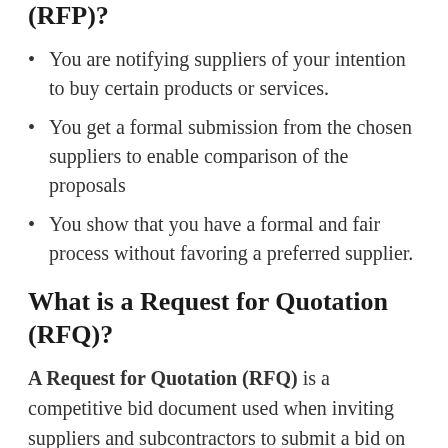(RFP)?
You are notifying suppliers of your intention to buy certain products or services.
You get a formal submission from the chosen suppliers to enable comparison of the proposals
You show that you have a formal and fair process without favoring a preferred supplier.
What is a Request for Quotation (RFQ)?
A Request for Quotation (RFQ) is a competitive bid document used when inviting suppliers and subcontractors to submit a bid on projects or products. An RFQ is suitable for sourcing products that are